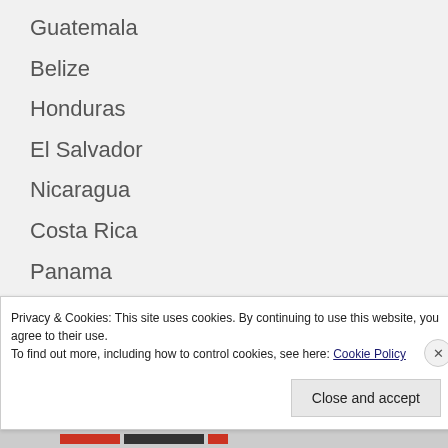Guatemala
Belize
Honduras
El Salvador
Nicaragua
Costa Rica
Panama
Colombia
Venezuela
Guyana
Privacy & Cookies: This site uses cookies. By continuing to use this website, you agree to their use.
To find out more, including how to control cookies, see here: Cookie Policy
Close and accept